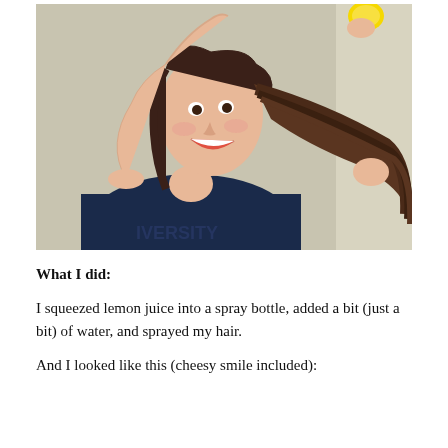[Figure (photo): A smiling woman in a dark navy t-shirt holding up her long brown hair with one hand and holding a yellow lemon above her head with the other hand, against a neutral background.]
What I did:
I squeezed lemon juice into a spray bottle, added a bit (just a bit) of water, and sprayed my hair.
And I looked like this (cheesy smile included):